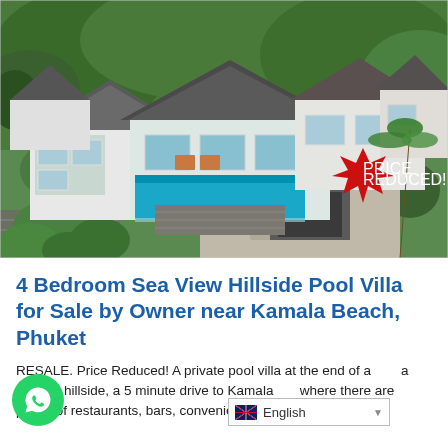[Figure (photo): Aerial view of a 4-bedroom hillside pool villa with multiple pyramid-style roofs, infinity pool, and surrounding tropical greenery. A red 'PRICE REDUCED!' starburst badge is visible in the lower right of the photo.]
4 Bedroom Sea View Hillside Pool Villa for Sale by Owner near Kamala Beach, Phuket
RESALE. Price Reduced! A private pool villa at the end of a tranquil hillside, a 5 minute drive to Kamala where there are plenty of restaurants, bars, convenience store